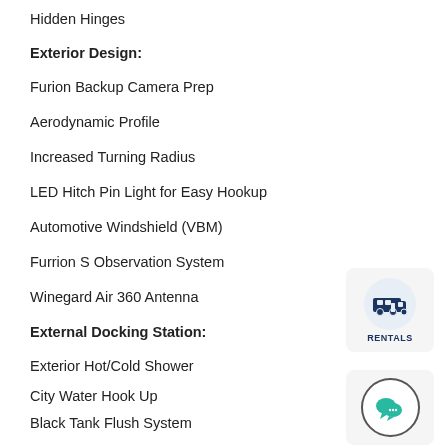Hidden Hinges
Exterior Design:
Furion Backup Camera Prep
Aerodynamic Profile
Increased Turning Radius
LED Hitch Pin Light for Easy Hookup
Automotive Windshield (VBM)
Furrion S Observation System
Winegard Air 360 Antenna
External Docking Station:
Exterior Hot/Cold Shower
City Water Hook Up
Black Tank Flush System
Cable TV & Satellite Hook-Ups (KeyTV)
All Tank Pull Handles (VBM)
[Figure (logo): RENTALS badge with RV icon inside a circle on a light gray rounded rectangle]
[Figure (logo): Chat bubble icon with ellipsis inside a circle on a light gray rounded rectangle]